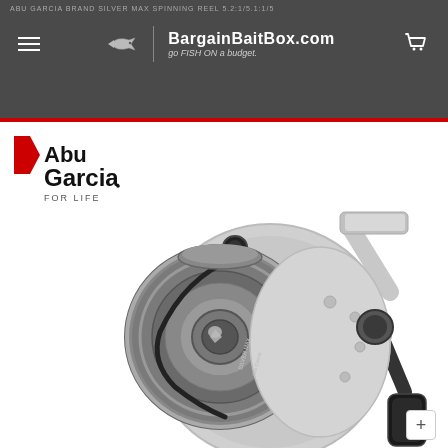ABU GARCIA BRAND SILVER MAX SPINNING REEL 5.2:1/5.1:1/5
[Figure (logo): BargainBaitBox.com website header with fish logo, tagline 'go FISH ON a budget.', hamburger menu icon, and cart icon on dark gray background]
[Figure (logo): Abu Garcia 'FOR LIFE' brand logo in red and black]
[Figure (photo): Abu Garcia Silver Max spinning fishing reel product photo on white background, showing silver and black reel with spool, bail wire, and handle]